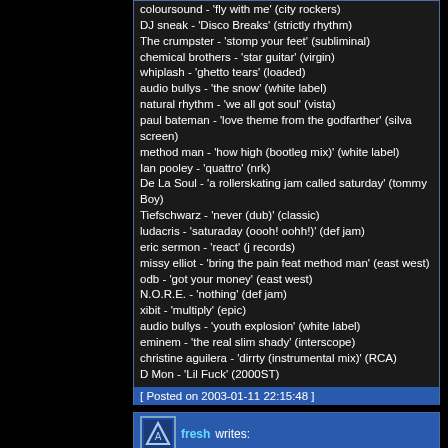coloursound - 'fly with me' (city rockers)
DJ sneak - 'Disco Breaks' (strictly rhythm)
The crumpster - 'stomp your feet' (subliminal)
chemical brothers - 'star guitar' (virgin)
whiplash - 'ghetto tears' (loaded)
audio bullys - 'the snow' (white label)
natural rhythm - 'we all got soul' (vista)
paul bateman - 'love theme from the godfarther' (silva screen)
method man - 'how high (bootleg mix)' (white label)
Ian pooley - 'quattro' (nrk)
De La Soul - 'a rollerskating jam called saturday' (tommy Boy)
Tiefschwarz - 'never (dub)' (classic)
ludacris - 'saturaday (oooh! oohh!)' (def jam)
eric sermon - 'react' (j records)
missy elliot - 'bring the pain feat method man' (east west)
odb - 'got your money' (east west)
N.O.R.E. - 'nothing' (def jam)
xibit - 'multiply' (epic)
audio bullys - 'youth explosion' (white label)
eminem - 'the real slim shady' (interscope)
christine aguilera - 'dirrty (instrumental mix)' (RCA)
D Mon - 'Lil Fuck' (2000ST)
[ Posted on 2003-01-11 22:15:48 ]
fresh writes:
Very nice mix. Nice build-up from very slow chill-out to firm club/tribal stuff. A nice cool-down as well. Very solid mixing and nice tracks. My favorite is Kinobe - Butterfly around 25 minutes in the mix... This will be played more often by me!
[ Posted on 2003-01-13 15:23:23 ] [email]
Nodyed writes: This is very good...